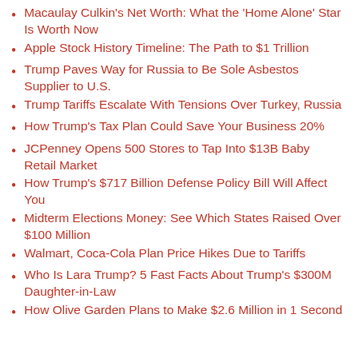Macaulay Culkin's Net Worth: What the 'Home Alone' Star Is Worth Now
Apple Stock History Timeline: The Path to $1 Trillion
Trump Paves Way for Russia to Be Sole Asbestos Supplier to U.S.
Trump Tariffs Escalate With Tensions Over Turkey, Russia
How Trump's Tax Plan Could Save Your Business 20%
JCPenney Opens 500 Stores to Tap Into $13B Baby Retail Market
How Trump's $717 Billion Defense Policy Bill Will Affect You
Midterm Elections Money: See Which States Raised Over $100 Million
Walmart, Coca-Cola Plan Price Hikes Due to Tariffs
Who Is Lara Trump? 5 Fast Facts About Trump's $300M Daughter-in-Law
How Olive Garden Plans to Make $2.6 Million in 1 Second